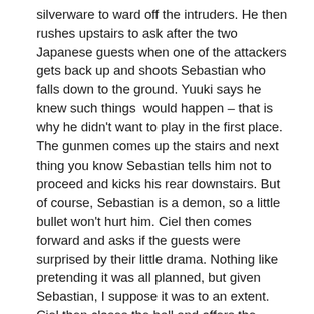silverware to ward off the intruders. He then rushes upstairs to ask after the two Japanese guests when one of the attackers gets back up and shoots Sebastian who falls down to the ground. Yuuki says he knew such things  would happen – that is why he didn't want to play in the first place. The gunmen comes up the stairs and next thing you know Sebastian tells him not to proceed and kicks his rear downstairs. But of course, Sebastian is a demon, so a little bullet won't hurt him. Ciel then comes forward and asks if the guests were surprised by their little drama. Nothing like pretending it was all planned, but given Sebastian, I suppose it was to an extent. Ciel then closes the ball and offers the guests the latest creation of Phantomhive's toy company that he is particularly proud of.